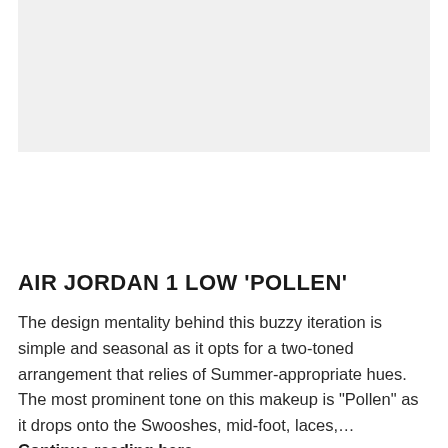[Figure (photo): Gray placeholder image area at the top of the page]
AIR JORDAN 1 LOW ‘POLLEN’
The design mentality behind this buzzy iteration is simple and seasonal as it opts for a two-toned arrangement that relies of Summer-appropriate hues. The most prominent tone on this makeup is “Pollen” as it drops onto the Swooshes, mid-foot, laces,… Continue reading here…